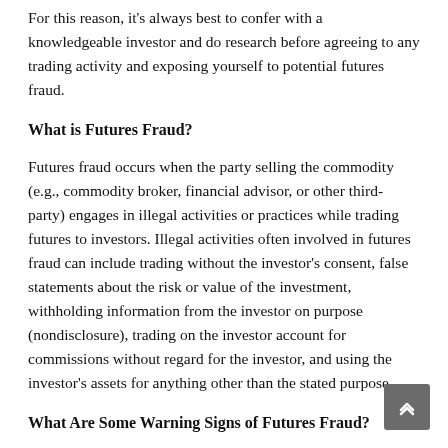For this reason, it's always best to confer with a knowledgeable investor and do research before agreeing to any trading activity and exposing yourself to potential futures fraud.
What is Futures Fraud?
Futures fraud occurs when the party selling the commodity (e.g., commodity broker, financial advisor, or other third-party) engages in illegal activities or practices while trading futures to investors. Illegal activities often involved in futures fraud can include trading without the investor's consent, false statements about the risk or value of the investment, withholding information from the investor on purpose (nondisclosure), trading on the investor account for commissions without regard for the investor, and using the investor's assets for anything other than the stated purpose.
What Are Some Warning Signs of Futures Fraud?